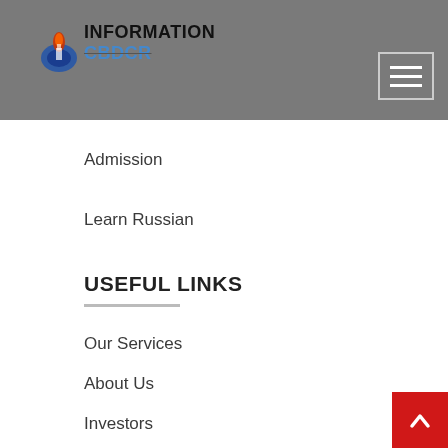INFORMATION CBDCR
Admission
Learn Russian
USEFUL LINKS
Our Services
About Us
Investors
Terms & Conditions
Our Events
Contact